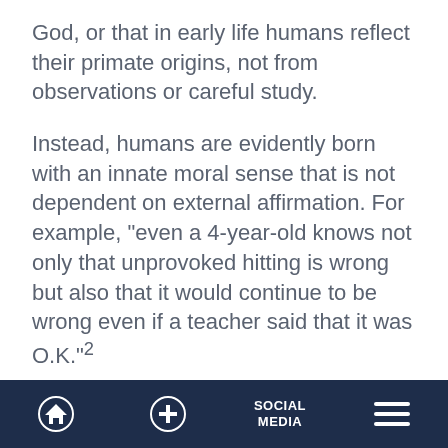God, or that in early life humans reflect their primate origins, not from observations or careful study.
Instead, humans are evidently born with an innate moral sense that is not dependent on external affirmation. For example, "even a 4-year-old knows not only that unprovoked hitting is wrong but also that it would continue to be wrong even if a teacher said that it was O.K."²
Given secular psychology's overall premise
Home | + | SOCIAL MEDIA | Menu